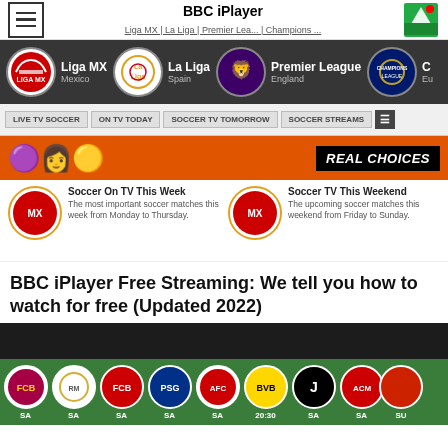BBC iPlayer | Liga MX | La Liga | Premier Lea... | Champions ...
[Figure (screenshot): League navigation bar showing Liga MX (Mexico), La Liga (Spain), Premier League (England), and Champions League logos on dark background]
[Figure (infographic): Navigation buttons: LIVE TV SOCCER, ON TV TODAY, SOCCER TV TOMORROW, SOCCER STREAMS]
[Figure (screenshot): Ad banner with colorful emojis and text REAL CHOICES]
Soccer On TV This Week - The most important soccer matches this week from Monday to Thursday.
Soccer TV This Weekend - The upcoming soccer matches this weekend from Friday to Sunday.
BBC iPlayer Free Streaming: We tell you how to watch for free (Updated 2022)
[Figure (screenshot): Bottom bar with football club logos on green background including Barcelona, Real Madrid, Bayern Munich, PSG, Ajax, BVB Dortmund, Juventus, AC Milan with time labels SA and 20:30]